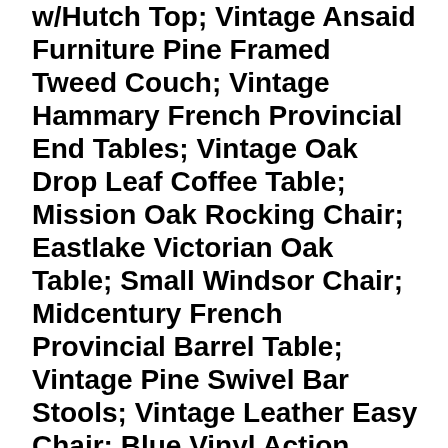w/Hutch Top; Vintage Ansaid Furniture Pine Framed Tweed Couch; Vintage Hammary French Provincial End Tables; Vintage Oak Drop Leaf Coffee Table; Mission Oak Rocking Chair; Eastlake Victorian Oak Table; Small Windsor Chair; Midcentury French Provincial Barrel Table; Vintage Pine Swivel Bar Stools; Vintage Leather Easy Chair; Blue Vinyl Action Industries Rocker/Recliner; Midcentury French Provincial Marble Top End Table; Vintage '60s Formica Top Coffee Table; Metal File Cabinets; Roll Away Bed; Vintage Card Tables w/Chairs; Westinghouse New Home Sewing Machine In Cabinet; Glass Topped Patio Umbrella Table w/Chairs; Metal and Wood Porch Glider; Primitive Wood Utility Cabinet; Golden Alante DX Front Wheel Drive Power Chair; More